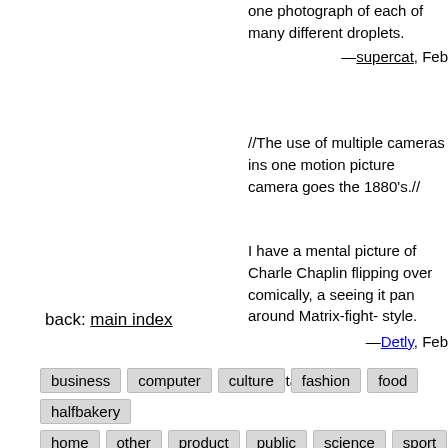one photograph of each of many different droplets.
—supercat, Feb
//The use of multiple cameras ins one motion picture camera goes the 1880's.//
I have a mental picture of Charle Chaplin flipping over comically, a seeing it pan around Matrix-fight- style.
—Detly, Feb
[annotate]
back: main index
business   computer   culture   fashion   food   halfbakery
home   other   product   public   science   sport   vehicle